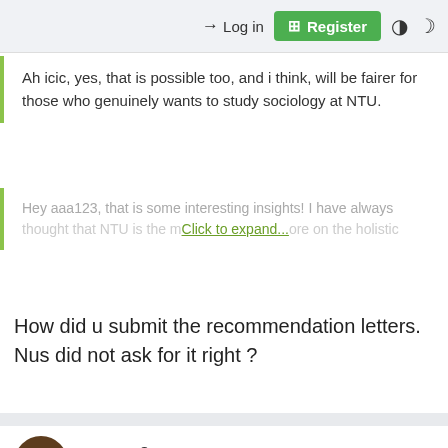→ Log in  [+] Register
Ah icic, yes, that is possible too, and i think, will be fairer for those who genuinely wants to study sociology at NTU.
Hey aaa123, that is some interesting insights! I have always thought that NTU is the m... Click to expand... ...ore on the holistic
How did u submit the recommendation letters. Nus did not ask for it right ?
escape2
Junior Member
Apr 25, 2015   #1,260
I'm from jc and got 75 rp, also tio rejected by fass... Which is weird considering I heard that nus policy is award positions based